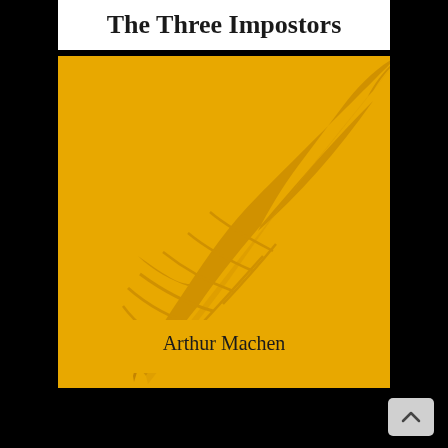The Three Impostors
[Figure (illustration): Book cover with golden/yellow background featuring a large golden feather/quill illustration in the center-left area of the cover]
Arthur Machen